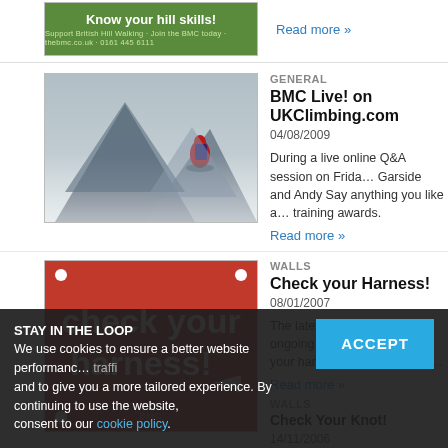[Figure (photo): Green banner ad: Know your hill skills! with BMC branding]
Read more »
GENERAL
BMC Live! on UKClimbing.com
04/08/2009
[Figure (photo): Person in red jacket with backpack sitting on a misty mountain]
During a live online Q&A session on Friday, Garside and Andy Say anything you like a... training awards.
Read more »
WALLS
Check your Harness!
08/01/2007
[Figure (photo): Red BMC sign: check your harness!]
The latest addition to the ongoing BMC s... the "check your harness!" sign for climbi...
Read more »
WALLS
Check Your Knot!
14/11/2006
STAY IN THE LOOP
We use cookies to ensure a better website performance... traffic and to give you a more tailored experience. By continuing to use the website, consent to our cookie policy.
ACCEPT